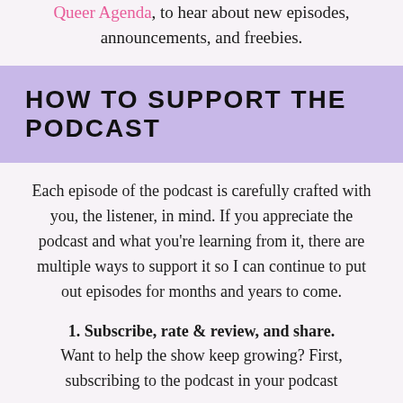Queer Agenda, to hear about new episodes, announcements, and freebies.
HOW TO SUPPORT THE PODCAST
Each episode of the podcast is carefully crafted with you, the listener, in mind. If you appreciate the podcast and what you're learning from it, there are multiple ways to support it so I can continue to put out episodes for months and years to come.
1. Subscribe, rate & review, and share. Want to help the show keep growing? First, subscribing to the podcast in your podcast